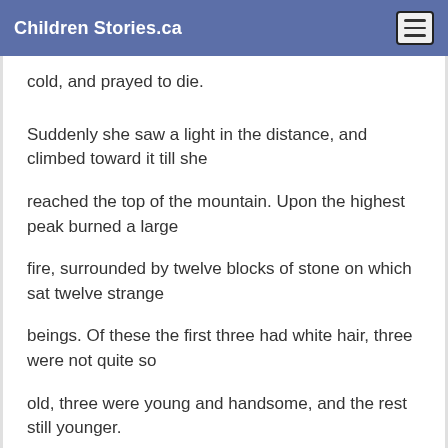Children Stories.ca
cold, and prayed to die.
Suddenly she saw a light in the distance, and climbed toward it till she
reached the top of the mountain. Upon the highest peak burned a large
fire, surrounded by twelve blocks of stone on which sat twelve strange
beings. Of these the first three had white hair, three were not quite so
old, three were young and handsome, and the rest still younger.